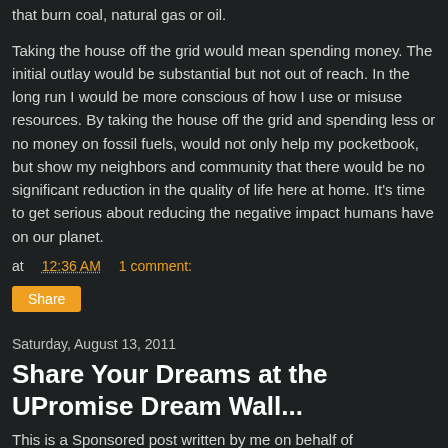that burn coal, natural gas or oil.
Taking the house off the grid would mean spending money. The initial outlay would be substantial but not out of reach. In the long run I would be more conscious of how I use or misuse resources. By taking the house off the grid and spending less or no money on fossil fuels, would not only help my pocketbook, but show my neighbors and community that there would be no significant reduction in the quality of life here at home. It's time to get serious about reducing the negative impact humans have on our planet.
at 12:36 AM    1 comment:
Share
Saturday, August 13, 2011
Share Your Dreams at the UPromise Dream Wall...
This is a Sponsored post written by me on behalf of